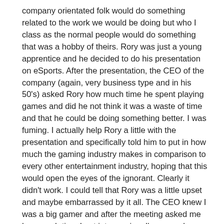company orientated folk would do something related to the work we would be doing but who I class as the normal people would do something that was a hobby of theirs. Rory was just a young apprentice and he decided to do his presentation on eSports. After the presentation, the CEO of the company (again, very business type and in his 50's) asked Rory how much time he spent playing games and did he not think it was a waste of time and that he could be doing something better. I was fuming. I actually help Rory a little with the presentation and specifically told him to put in how much the gaming industry makes in comparison to every other entertainment industry, hoping that this would open the eyes of the ignorant. Clearly it didn't work. I could tell that Rory was a little upset and maybe embarrassed by it all. The CEO knew I was a big gamer and after the meeting asked me how much time I put into gaming. I've never been shy about my hobby and simply said "As much free time as I possibly have" and walked off.
It's these kinds of attitudes towards gaming that really boils my blood. If you don't understand why someone likes the hobby then that's fair enough but trying to bring someone down because of it is just disgusting behavior, especially when there are far worst past times. As Greg mentioned, drinking alcohol, something that is physically bad for